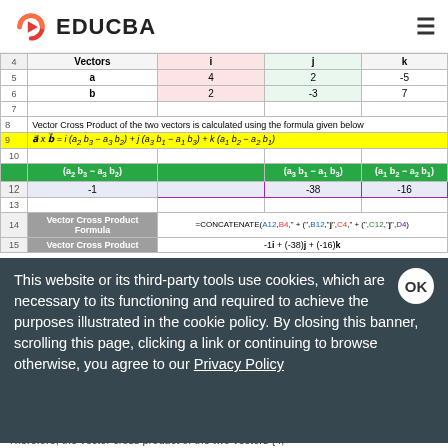[Figure (logo): EDUCBA logo with red/orange play button icon and hamburger menu]
|  | Vectors | i | j | k |
| --- | --- | --- | --- | --- |
| 5 | a | 4 | 2 | -5 |
| 6 | b | 2 | -3 | 7 |
| 7 |  |  |  |  |
| 8 | Vector Cross Product of the two vectors is calculated using the formula given below |  |  |  |
| 9 | a⃗ x b⃗ = i (a₂ b₃ − a₃ b₂) + j (a₃ b₁ − a₁ b₃) + k (a₁ b₂ − a₂ b₁) |  |  |  |
| 10 |  |  |  |  |
| 11 | (a₂ b₃ − a₃ b₂) |  | (a₃ b₁ − a₁ b₃) | (a₁ b₂ − a₂ b₁) |
| 12 | -1 |  | -38 | -16 |
| 13 |  |  |  |  |
| 14 | Vector Cross Product Formula | =CONCATENATE(A12,B4," + (",B12,"j",C4," + (",C12,"j",D4) |  |  |
| 15 | Vector Cross Product | -1i + (-38)j + (-16)k |  |  |
This website or its third-party tools use cookies, which are necessary to its functioning and required to achieve the purposes illustrated in the cookie policy. By closing this banner, scrolling this page, clicking a link or continuing to browse otherwise, you agree to our Privacy Policy
Therefore, the vector cross product of the two vectors {4,